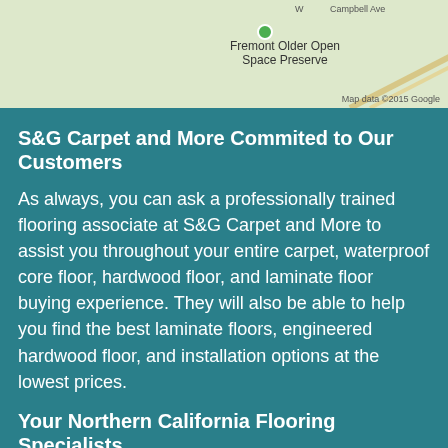[Figure (map): Partial Google Maps view showing Fremont Older Open Space Preserve area with road overlays and a location pin. Map data ©2015 Google.]
S&G Carpet and More Commited to Our Customers
As always, you can ask a professionally trained flooring associate at S&G Carpet and More to assist you throughout your entire carpet, waterproof core floor, hardwood floor, and laminate floor buying experience. They will also be able to help you find the best laminate floors, engineered hardwood floor, and installation options at the lowest prices.
Your Northern California Flooring Specialists
This website or its third-party tools process personal data. In case of sale of your personal information, you may opt out via Cookie Settings.